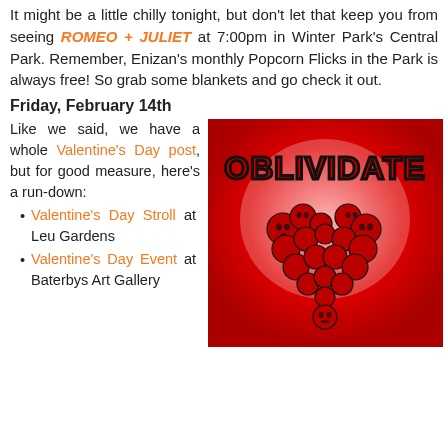It might be a little chilly tonight, but don't let that keep you from seeing ROMEO + JULIET at 7:00pm in Winter Park's Central Park. Remember, Enizan's monthly Popcorn Flicks in the Park is always free! So grab some blankets and go check it out.
Friday, February 14th
Like we said, we have a whole Valentine's Day post, but for good measure, here's a run-down:
[Figure (illustration): Red background illustration with 'OBLIVIDATE' text in red letters at top, and a heart shape made of red skulls below]
Valentine's Day Stroll at Leu Gardens
Valentine's Day Event at Baterbys Art Gallery